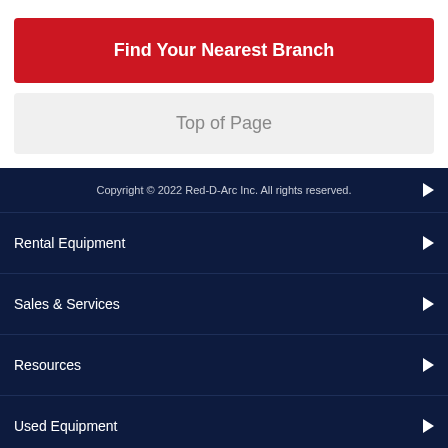Find Your Nearest Branch
Top of Page
Copyright © 2022 Red-D-Arc Inc. All rights reserved.
Rental Equipment
Sales & Services
Resources
Used Equipment